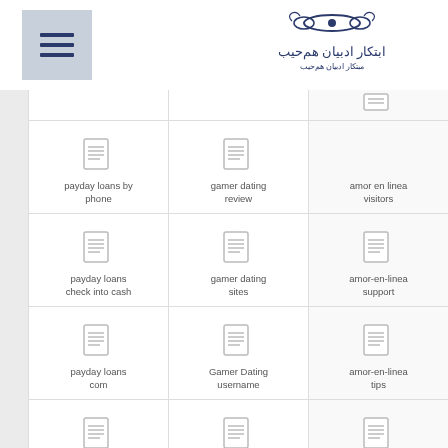[Figure (logo): Persian/Arabic decorative logo with text]
payday loans by phone
gamer dating review
amor en linea visitors
payday loans check into cash
gamer dating sites
amor-en-linea support
payday loans com
Gamer Dating username
amor-en-linea tips
payday loans conroe tx
Gay XXX Live Sex
amor-en-linea username